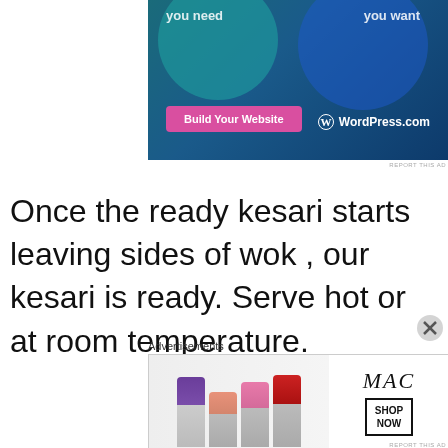[Figure (screenshot): WordPress.com advertisement banner showing two overlapping circles (teal and blue) with text 'you need' and 'you want', a pink 'Build Your Website' button, and the WordPress.com logo]
REPORT THIS AD
Once the ready kesari starts leaving sides of wok , our kesari is ready. Serve hot or at room temperature.
Advertisements
[Figure (screenshot): MAC cosmetics advertisement showing lipsticks in purple, pink, and red colors alongside the MAC logo and a 'SHOP NOW' button]